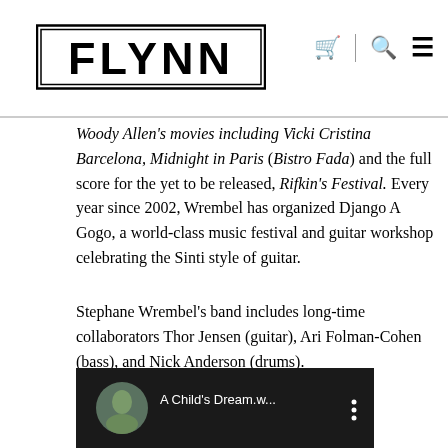FLYNN
Woody Allen's movies including Vicki Cristina Barcelona, Midnight in Paris (Bistro Fada) and the full score for the yet to be released, Rifkin's Festival. Every year since 2002, Wrembel has organized Django A Gogo, a world-class music festival and guitar workshop celebrating the Sinti style of guitar.
Stephane Wrembel's band includes long-time collaborators Thor Jensen (guitar), Ari Folman-Cohen (bass), and Nick Anderson (drums).
[Figure (screenshot): Video thumbnail showing 'A Child's Dream.w...' with a circular avatar image on a dark background and a menu icon.]